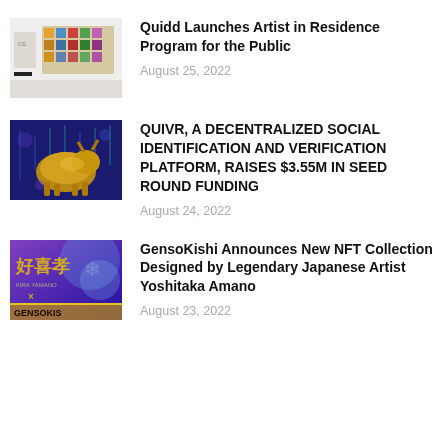[Figure (photo): Art gallery interior with colorful artwork on wall]
Quidd Launches Artist in Residence Program for the Public
August 25, 2022
[Figure (photo): Golden bull statue with stock chart candlesticks in background]
QUIVR, A DECENTRALIZED SOCIAL IDENTIFICATION AND VERIFICATION PLATFORM, RAISES $3.55M IN SEED ROUND FUNDING
August 24, 2022
[Figure (photo): GensoKishi NFT artwork with Japanese characters and logo]
GensoKishi Announces New NFT Collection Designed by Legendary Japanese Artist Yoshitaka Amano
August 23, 2022